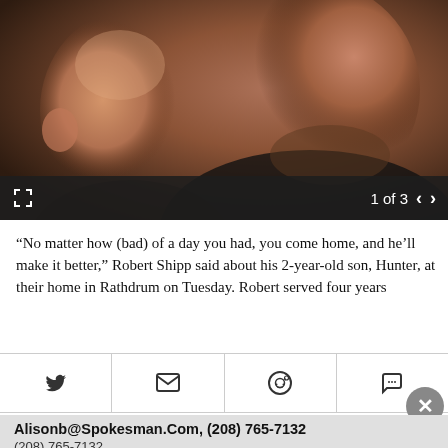[Figure (photo): Close-up photo of a young child and a bearded man seen in side profile, both looking in the same direction against a dark background. The image viewer shows '1 of 3' with navigation arrows and a fullscreen icon.]
“No matter how (bad) of a day you had, you come home, and he’ll make it better,” Robert Shipp said about his 2-year-old son, Hunter, at their home in Rathdrum on Tuesday. Robert served four years
Alisonb@Spokesman.Com, (208) 765-7132
(208) 765-7132